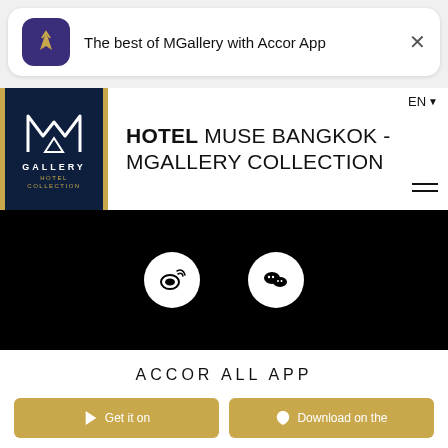[Figure (screenshot): App promotion banner with Accor app icon and text: The best of MGallery with Accor App]
[Figure (logo): MGallery Hotel Collection logo - white M mark on dark navy background with gold border]
HOTEL MUSE BANGKOK - MGALLERY COLLECTION
EN
[Figure (infographic): Social media icons for Weibo and WeChat on black background]
ACCOR ALL APP
Get it on
Download on the